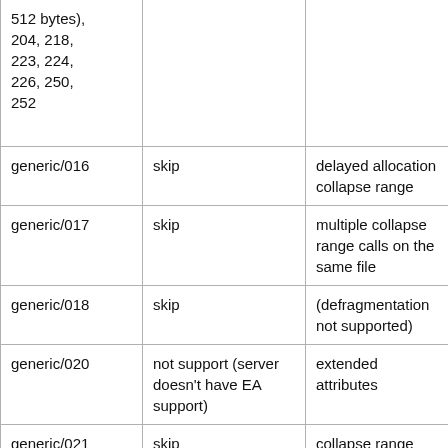| 512 bytes), 204, 218, 223, 224, 226, 250, 252 |  |  |
| generic/016 | skip | delayed allocation collapse range |
| generic/017 | skip | multiple collapse range calls on the same file |
| generic/018 | skip | (defragmentation not supported) |
| generic/020 | not support (server doesn't have EA support) | extended attributes |
| generic/021 | skip | collapse range |
| generic/022 | skip | delayed allocation collapse range |
|  | fail (needs more |  |